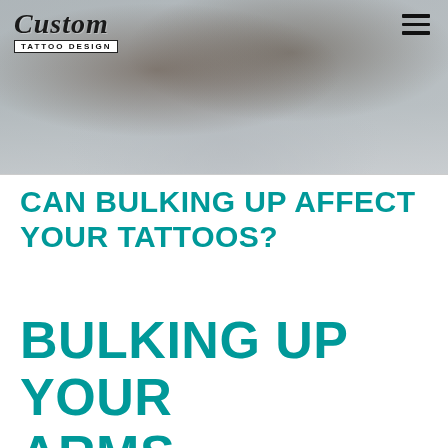[Figure (photo): Cropped photo of a muscular tattooed person with wrist wraps, shown from torso down with arms crossed, gym setting, muted gray-blue tones]
Custom Tattoo Design
CAN BULKING UP AFFECT YOUR TATTOOS?
BULKING UP YOUR ARMS